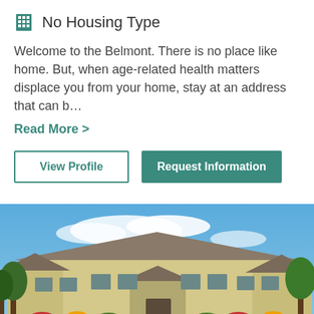No Housing Type
Welcome to the Belmont. There is no place like home. But, when age-related health matters displace you from your home, stay at an address that can b…
Read More >
View Profile
Request Information
[Figure (photo): Exterior architectural rendering of The Belmont senior living facility showing a large stone and siding building with dormers, surrounded by trees and landscaped gardens, under a blue sky with clouds.]